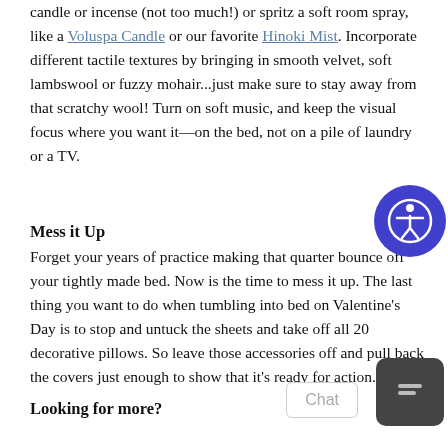candle or incense (not too much!) or spritz a soft room spray, like a Voluspa Candle or our favorite Hinoki Mist. Incorporate different tactile textures by bringing in smooth velvet, soft lambswool or fuzzy mohair...just make sure to stay away from that scratchy wool! Turn on soft music, and keep the visual focus where you want it—on the bed, not on a pile of laundry or a TV.
Mess it Up
Forget your years of practice making that quarter bounce off your tightly made bed. Now is the time to mess it up. The last thing you want to do when tumbling into bed on Valentine's Day is to stop and untuck the sheets and take off all 20 decorative pillows. So leave those accessories off and pull back the covers just enough to show that it's ready for action.
Looking for more?